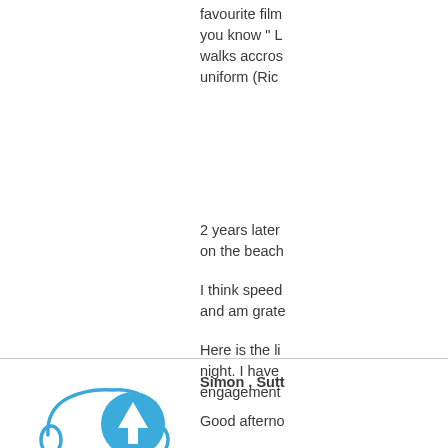favourite film you know " L walks accros uniform (Ric
2 years later on the beach
I think speed and am grate
Here is the li night. I have engagement
[Figure (illustration): Blue circular button with upward arrow icon, overlapping a speech bubble / headphone icon in blue outline style]
Simon , Sutt
Good afterno